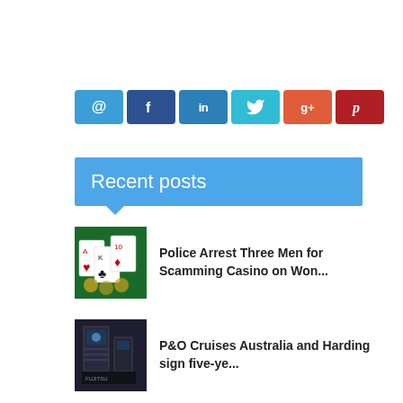[Figure (other): Row of six social sharing buttons: @ (email, blue), f (Facebook, dark blue), in (LinkedIn, medium blue), bird (Twitter, cyan), g+ (Google+, orange-red), P (Pinterest, dark red)]
Recent posts
[Figure (photo): Thumbnail photo of playing cards on a table (casino theme)]
Police Arrest Three Men for Scamming Casino on Won...
[Figure (photo): Thumbnail photo of a cruise/trade show display booth with screens]
P&O Cruises Australia and Harding sign five-ye...
[Figure (photo): Thumbnail photo of MSC Cruises Robotron attraction]
MSC Cruises Presents Robotron - the star attractio...